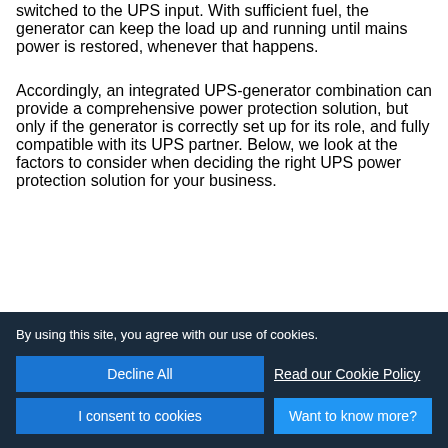switched to the UPS input. With sufficient fuel, the generator can keep the load up and running until mains power is restored, whenever that happens.
Accordingly, an integrated UPS-generator combination can provide a comprehensive power protection solution, but only if the generator is correctly set up for its role, and fully compatible with its UPS partner. Below, we look at the factors to consider when deciding the right UPS power protection solution for your business.
[Figure (photo): Partial view of a UPS device and what appears to be a CAPTCHA or logo element in the lower portion of the page]
By using this site, you agree with our use of cookies.
Decline All
Read our Cookie Policy
I consent to cookies
Want to know more?